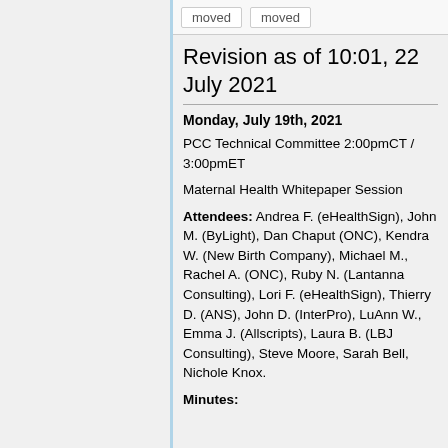Revision as of 10:01, 22 July 2021
Monday, July 19th, 2021
PCC Technical Committee 2:00pmCT / 3:00pmET
Maternal Health Whitepaper Session
Attendees: Andrea F. (eHealthSign), John M. (ByLight), Dan Chaput (ONC), Kendra W. (New Birth Company), Michael M., Rachel A. (ONC), Ruby N. (Lantanna Consulting), Lori F. (eHealthSign), Thierry D. (ANS), John D. (InterPro), LuAnn W., Emma J. (Allscripts), Laura B. (LBJ Consulting), Steve Moore, Sarah Bell, Nichole Knox.
Minutes: